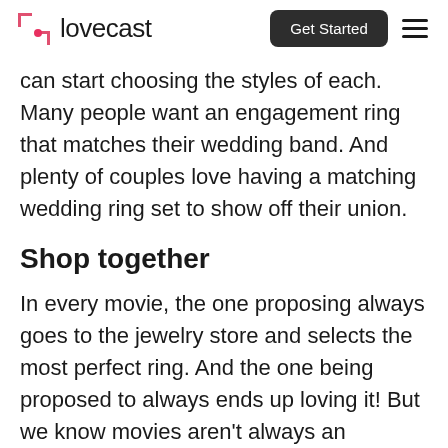lovecast — Get Started
can start choosing the styles of each. Many people want an engagement ring that matches their wedding band. And plenty of couples love having a matching wedding ring set to show off their union.
Shop together
In every movie, the one proposing always goes to the jewelry store and selects the most perfect ring. And the one being proposed to always ends up loving it! But we know movies aren't always an accurate depiction of real life. Many times, the one